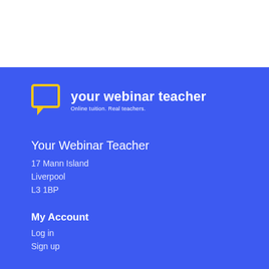[Figure (logo): Your Webinar Teacher logo: yellow speech bubble icon with text 'your webinar teacher' and tagline 'Online tuition. Real teachers.']
Your Webinar Teacher
17 Mann Island
Liverpool
L3 1BP
My Account
Log in
Sign up